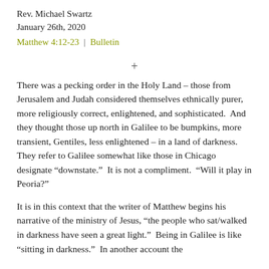Rev. Michael Swartz
January 26th, 2020
Matthew 4:12-23 | Bulletin
+
There was a pecking order in the Holy Land – those from Jerusalem and Judah considered themselves ethnically purer, more religiously correct, enlightened, and sophisticated.  And they thought those up north in Galilee to be bumpkins, more transient, Gentiles, less enlightened – in a land of darkness.  They refer to Galilee somewhat like those in Chicago designate “downstate.”  It is not a compliment.  “Will it play in Peoria?”
It is in this context that the writer of Matthew begins his narrative of the ministry of Jesus, “the people who sat/walked in darkness have seen a great light.”  Being in Galilee is like “sitting in darkness.”  In another account the